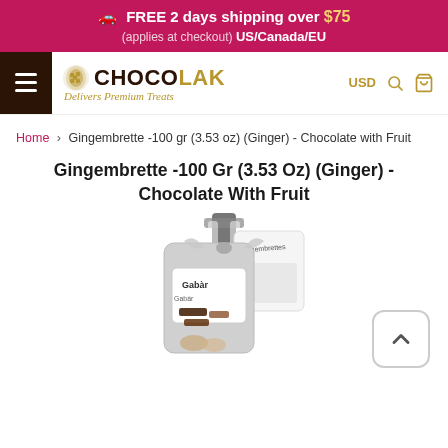FREE 2 days shipping over $75 (applies at checkout) US/Canada/EU
[Figure (screenshot): Chocolak logo with cocoa pod icon, text 'CHOCOLAK Delivers Premium Treats', hamburger menu, USD currency selector, search icon, cart icon]
Home > Gingembrette -100 gr (3.53 oz) (Ginger) - Chocolate with Fruit
Gingembrette -100 Gr (3.53 Oz) (Ginger) - Chocolate With Fruit
[Figure (photo): Product photo of Gingembrette chocolate with fruit, showing chocolate pieces with ribbon bow and packaging labeled Gabar/Gingembrettes]